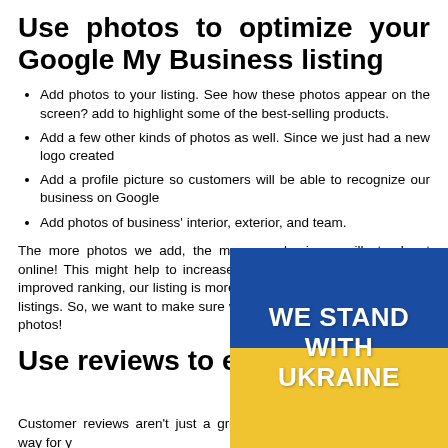Use photos to optimize your Google My Business listing
Add photos to your listing. See how these photos appear on the screen? add to highlight some of the best-selling products.
Add a few other kinds of photos as well. Since we just had a new logo created
Add a profile picture so customers will be able to recognize our business on Google
Add photos of business' interior, exterior, and team.
The more photos we add, the more our business will stand out online! This might help to increase our ranking in search. With an improved ranking, our listing is more likely to show up ahead of other listings. So, we want to make sure we keep adding all of these great photos!
[Figure (illustration): Ukrainian flag banner with blue top half and yellow bottom half, showing bold white text 'WE STAND WITH UKRAINE']
Use reviews to engage
Customer reviews aren't just a great way for your business to stand out from your competitors and have to offer. You can also use them to engage
Respond to all reviews